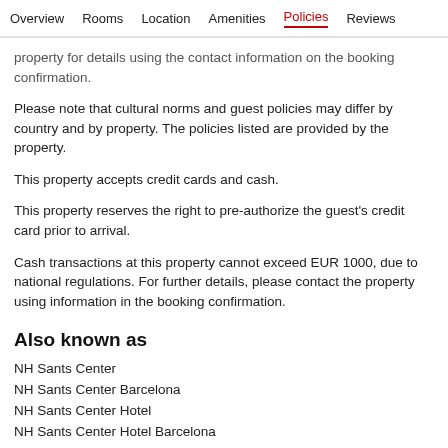Overview  Rooms  Location  Amenities  Policies  Reviews
property for details using the contact information on the booking confirmation.
Please note that cultural norms and guest policies may differ by country and by property. The policies listed are provided by the property.
This property accepts credit cards and cash.
This property reserves the right to pre-authorize the guest's credit card prior to arrival.
Cash transactions at this property cannot exceed EUR 1000, due to national regulations. For further details, please contact the property using information in the booking confirmation.
Also known as
NH Sants Center
NH Sants Center Barcelona
NH Sants Center Hotel
NH Sants Center Hotel Barcelona
Sants Center